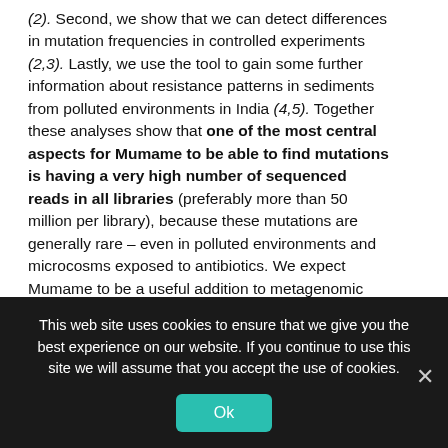(2). Second, we show that we can detect differences in mutation frequencies in controlled experiments (2,3). Lastly, we use the tool to gain some further information about resistance patterns in sediments from polluted environments in India (4,5). Together these analyses show that one of the most central aspects for Mumame to be able to find mutations is having a very high number of sequenced reads in all libraries (preferably more than 50 million per library), because these mutations are generally rare – even in polluted environments and microcosms exposed to antibiotics. We expect Mumame to be a useful addition to metagenomic studies of e.g. antibiotic resistance, and to increase the detail by which metagenomes can be screened for phenotypically important differences.
While I did write the code for the software (with a lot of input
This web site uses cookies to ensure that we give you the best experience on our website. If you continue to use this site we will assume that you accept the use of cookies.